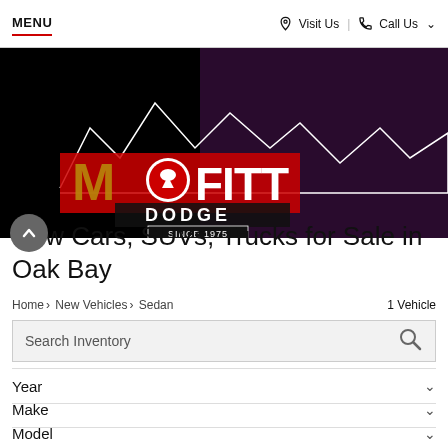MENU | Visit Us | Call Us
[Figure (logo): Moffitt Dodge dealership logo on black background with mountain silhouette. Red and white text reading MOFFITT DODGE SINCE 1975 with Dodge ram head emblem.]
New Cars, SUVs, Trucks for Sale in Oak Bay
Home > New Vehicles > Sedan   1 Vehicle
Search Inventory
Year
Make
Model
Trim